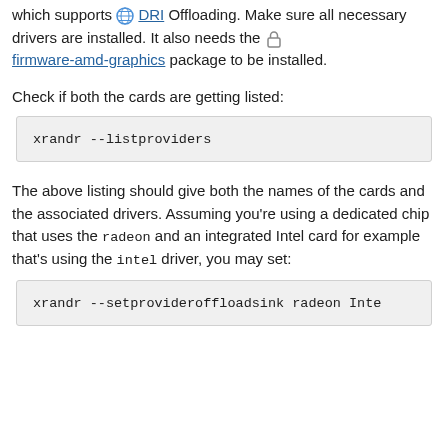which supports DRI Offloading. Make sure all necessary drivers are installed. It also needs the firmware-amd-graphics package to be installed.
Check if both the cards are getting listed:
xrandr --listproviders
The above listing should give both the names of the cards and the associated drivers. Assuming you're using a dedicated chip that uses the radeon and an integrated Intel card for example that's using the intel driver, you may set:
xrandr --setprovideroffloadsink radeon Inte